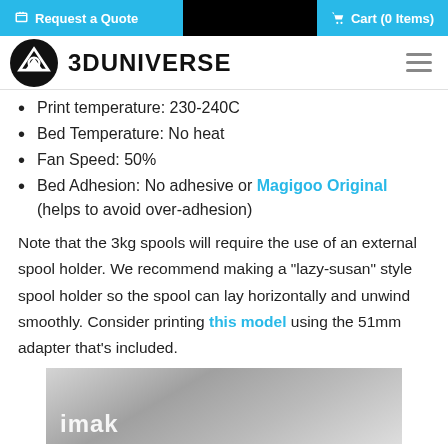Request a Quote  |  Cart (0 Items)
3DUNIVERSE
Print temperature: 230-240C
Bed Temperature: No heat
Fan Speed: 50%
Bed Adhesion: No adhesive or Magigoo Original (helps to avoid over-adhesion)
Note that the 3kg spools will require the use of an external spool holder. We recommend making a "lazy-susan" style spool holder so the spool can lay horizontally and unwind smoothly. Consider printing this model using the 51mm adapter that's included.
[Figure (photo): Grayscale photo showing a 3D printer component or spool holder, with the partial text 'imak' visible]